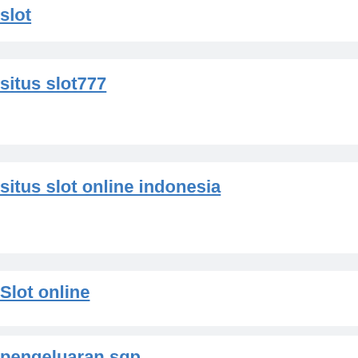slot
situs slot777
situs slot online indonesia
Slot online
pengeluaran sgp